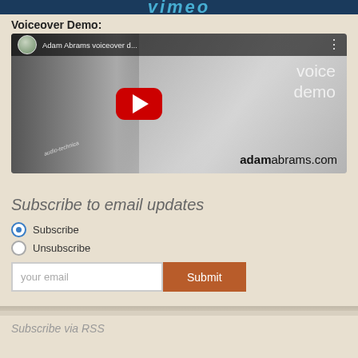[Figure (screenshot): Top banner with Vimeo logo (partial, cut off at top)]
Voiceover Demo:
[Figure (screenshot): YouTube video thumbnail for Adam Abrams voiceover demo. Shows a microphone (audio-technica), a circular avatar of Adam Abrams, the video title 'Adam Abrams voiceover d...' with three-dot menu, a red YouTube play button in the center, 'voice demo' text on the right, and 'adamabrams.com' at the bottom right.]
Subscribe to email updates
Subscribe
Unsubscribe
your email
Subscribe via RSS